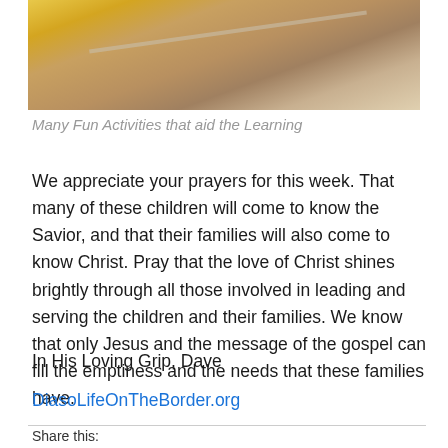[Figure (photo): Partial photo of children's activity scene, cropped at top of page]
Many Fun Activities that aid the Learning
We appreciate your prayers for this week. That many of these children will come to know the Savior, and that their families will also come to know Christ. Pray that the love of Christ shines brightly through all those involved in leading and serving the children and their families. We know that only Jesus and the message of the gospel can fill the emptiness and the needs that these families have.
In His Loving Grip, Dave
DiasoLifeOnTheBorder.org
Share this: